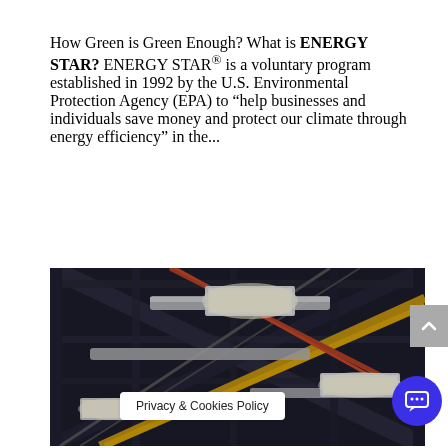How Green is Green Enough? What is ENERGY STAR? ENERGY STAR® is a voluntary program established in 1992 by the U.S. Environmental Protection Agency (EPA) to “help businesses and individuals save money and protect our climate through energy efficiency” in the...
[Figure (photo): Industrial warehouse ceiling with pipes, ductwork, structural beams, and bright fluorescent lighting panels. Yellow pipes cross diagonally. Dark industrial setting.]
Privacy & Cookies Policy